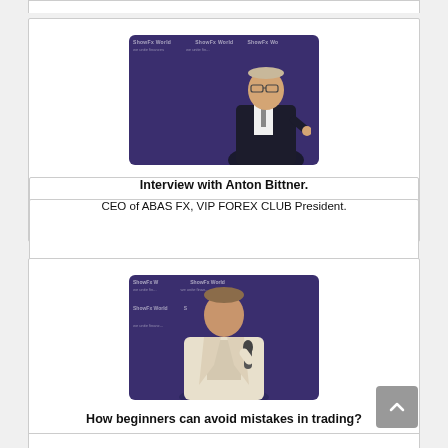[Figure (photo): Interview thumbnail showing Anton Bittner in front of ShowFx World branded backdrop]
Interview with Anton Bittner.
CEO of ABAS FX, VIP FOREX CLUB President.
[Figure (photo): Interview thumbnail showing Petar Jacimovic in front of ShowFx World branded backdrop, holding a microphone]
How beginners can avoid mistakes in trading?
Interview with Petar Jacimovic.